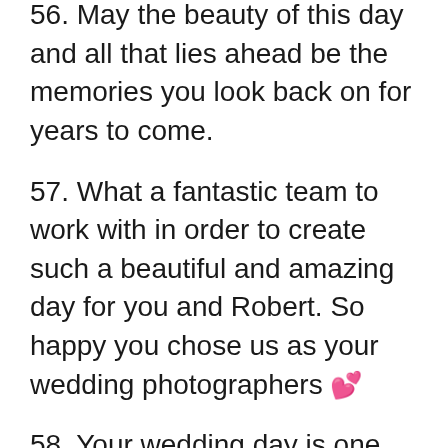56. May the beauty of this day and all that lies ahead be the memories you look back on for years to come.
57. What a fantastic team to work with in order to create such a beautiful and amazing day for you and Robert. So happy you chose us as your wedding photographers 💕
58. Your wedding day is one you'll remember all your life, so live it unapologetically. As a couple, be completely present and in the moment—no matter what happens, there's always a beauty to be found in the...